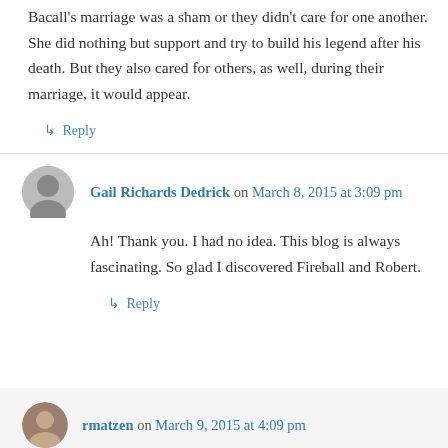Bacall's marriage was a sham or they didn't care for one another. She did nothing but support and try to build his legend after his death. But they also cared for others, as well, during their marriage, it would appear.
↳ Reply
Gail Richards Dedrick on March 8, 2015 at 3:09 pm
Ah! Thank you. I had no idea. This blog is always fascinating. So glad I discovered Fireball and Robert.
↳ Reply
rmatzen on March 9, 2015 at 4:09 pm